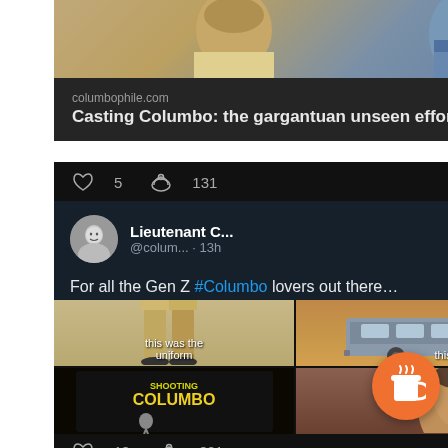[Figure (screenshot): Mobile social media feed showing a Columbo article link card and a tweet about Columbo for Gen Z, with a meme image grid]
columbophile.com
Casting Columbo: the gargantuan unseen effort
5 comments  131 likes
Lieutenant C... @colum... · 13h
For all the Gen Z #Columbo lovers out there…
this was the uniform
this was the bus
[Figure (photo): Shooting Columbo book cover]
[Figure (photo): Columbo actor close-up meme image]